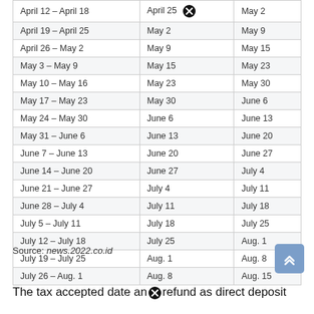| Period | Date 1 | Date 2 |
| --- | --- | --- |
| April 12 – April 18 | April 25 | May 2 |
| April 19 – April 25 | May 2 | May 9 |
| April 26 – May 2 | May 9 | May 15 |
| May 3 – May 9 | May 15 | May 23 |
| May 10 – May 16 | May 23 | May 30 |
| May 17 – May 23 | May 30 | June 6 |
| May 24 – May 30 | June 6 | June 13 |
| May 31 – June 6 | June 13 | June 20 |
| June 7 – June 13 | June 20 | June 27 |
| June 14 – June 20 | June 27 | July 4 |
| June 21 – June 27 | July 4 | July 11 |
| June 28 – July 4 | July 11 | July 18 |
| July 5 – July 11 | July 18 | July 25 |
| July 12 – July 18 | July 25 | Aug. 1 |
| July 19 – July 25 | Aug. 1 | Aug. 8 |
| July 26 – Aug. 1 | Aug. 8 | Aug. 15 |
Source: news.2022.co.id
The tax accepted date and refund as direct deposit